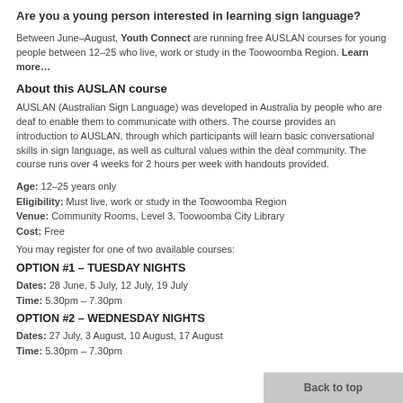Are you a young person interested in learning sign language?
Between June–August, Youth Connect are running free AUSLAN courses for young people between 12–25 who live, work or study in the Toowoomba Region. Learn more…
About this AUSLAN course
AUSLAN (Australian Sign Language) was developed in Australia by people who are deaf to enable them to communicate with others. The course provides an introduction to AUSLAN, through which participants will learn basic conversational skills in sign language, as well as cultural values within the deaf community. The course runs over 4 weeks for 2 hours per week with handouts provided.
Age: 12–25 years only
Eligibility: Must live, work or study in the Toowoomba Region
Venue: Community Rooms, Level 3, Toowoomba City Library
Cost: Free
You may register for one of two available courses:
OPTION #1 – TUESDAY NIGHTS
Dates: 28 June, 5 July, 12 July, 19 July
Time: 5.30pm – 7.30pm
OPTION #2 – WEDNESDAY NIGHTS
Dates: 27 July, 3 August, 10 August, 17 August
Time: 5.30pm – 7.30pm